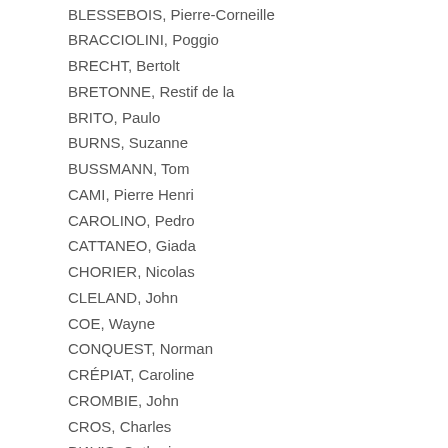BLESSEBOIS, Pierre-Corneille
BRACCIOLINI, Poggio
BRECHT, Bertolt
BRETONNE, Restif de la
BRITO, Paulo
BURNS, Suzanne
BUSSMANN, Tom
CAMI, Pierre Henri
CAROLINO, Pedro
CATTANEO, Giada
CHORIER, Nicolas
CLELAND, John
COE, Wayne
CONQUEST, Norman
CRÉPIAT, Caroline
CROMBIE, John
CROS, Charles
D'AVIS, Catherine
DEBUT, Farewell